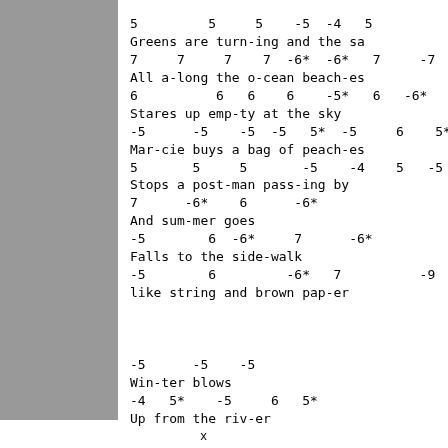5         5     5    -5  -4   5
Greens are turn-ing and the sa
7     7     7    7  -6*  -6*   7     -7
All a-long the o-cean beach-es
6          6   6    6    -5*   6   -6*
Stares up emp-ty at the sky
-5      -5    -5  -5   5*  -5     6    5*
Mar-cie buys a bag of peach-es
5       5     5       -5    -4    5   -5
Stops a post-man pass-ing by
7      -6*    6      -6*
And sum-mer goes
-5        6  -6*     7      -6*
Falls to the side-walk
-5        6         -6*   7          -9   8
like string and brown pap-er


-5      -5    -5
Win-ter blows
-4   5*    -5     6   5*
Up from the riv-er
x